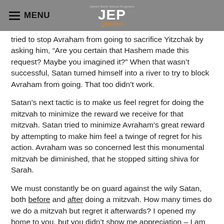MENU | JEP Queens
tried to stop Avraham from going to sacrifice Yitzchak by asking him, “Are you certain that Hashem made this request? Maybe you imagined it?” When that wasn’t successful, Satan turned himself into a river to try to block Avraham from going. That too didn’t work.
Satan’s next tactic is to make us feel regret for doing the mitzvah to minimize the reward we receive for that mitzvah. Satan tried to minimize Avraham’s great reward by attempting to make him feel a twinge of regret for his action. Avraham was so concerned lest this monumental mitzvah be diminished, that he stopped sitting shiva for Sarah.
We must constantly be on guard against the wily Satan, both before and after doing a mitzvah. How many times do we do a mitzvah but regret it afterwards? I opened my home to you, but you didn’t show me appreciation – I am sorry I